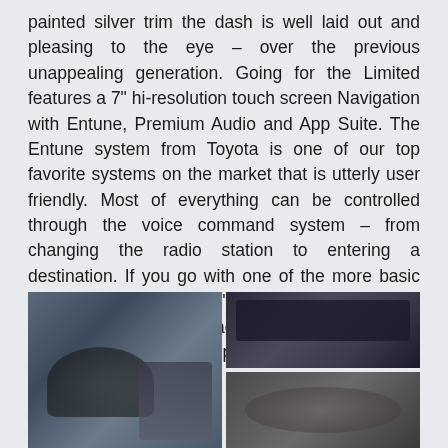painted silver trim the dash is well laid out and pleasing to the eye – over the previous unappealing generation. Going for the Limited features a 7" hi-resolution touch screen Navigation with Entune, Premium Audio and App Suite. The Entune system from Toyota is one of our top favorite systems on the market that is utterly user friendly. Most of everything can be controlled through the voice command system – from changing the radio station to entering a destination. If you go with one of the more basic modeled Tundra's a 6.1" touch screen system is standard along with a back-up camera… which is quite useful for backing up this beast.
[Figure (photo): Left: large photo of Toyota Tundra interior showing steering wheel and dashboard with center touchscreen and silver trim. Top right: close-up photo of the Entune touchscreen navigation system and center console controls. Bottom right: partial photo of a vehicle interior element.]